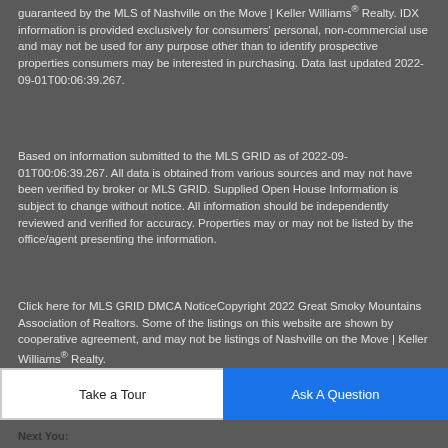guaranteed by the MLS of Nashville on the Move | Keller Williams® Realty. IDX information is provided exclusively for consumers' personal, non-commercial use and may not be used for any purpose other than to identify prospective properties consumers may be interested in purchasing. Data last updated 2022-09-01T00:06:39.267.
Based on information submitted to the MLS GRID as of 2022-09-01T00:06:39.267. All data is obtained from various sources and may not have been verified by broker or MLS GRID. Supplied Open House Information is subject to change without notice. All information should be independently reviewed and verified for accuracy. Properties may or may not be listed by the office/agent presenting the information.
Click here for MLS GRID DMCA NoticeCopyright 2022 Great Smoky Mountains Association of Realtors. Some of the listings on this website are shown by cooperative agreement, and may not be listings of Nashville on the Move | Keller Williams® Realty.
Information deemed reliable but not guaranteed. Last updated...